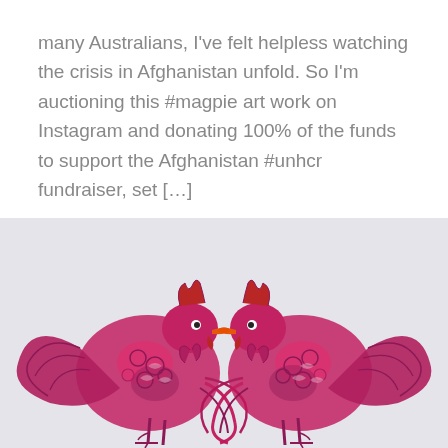many Australians, I've felt helpless watching the crisis in Afghanistan unfold. So I'm auctioning this #magpie art work on Instagram and donating 100% of the funds to support the Afghanistan #unhcr fundraiser, set […]
Continue Reading
[Figure (illustration): Two ornate red and pink roosters/birds facing each other with decorative patterned feathers, rendered in a detailed illustrative style against a light grey background.]